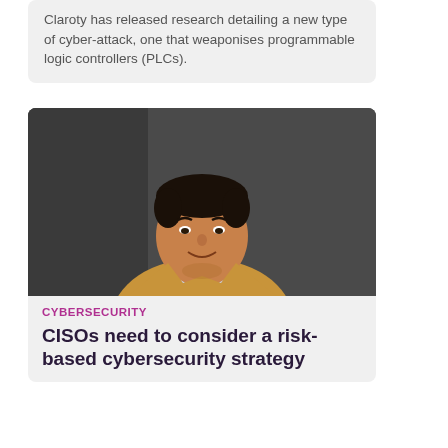Claroty has released research detailing a new type of cyber-attack, one that weaponises programmable logic controllers (PLCs).
[Figure (photo): Portrait photo of a man in a tan blazer and light blue shirt, smiling, standing against a dark grey wall background.]
CYBERSECURITY
CISOs need to consider a risk-based cybersecurity strategy